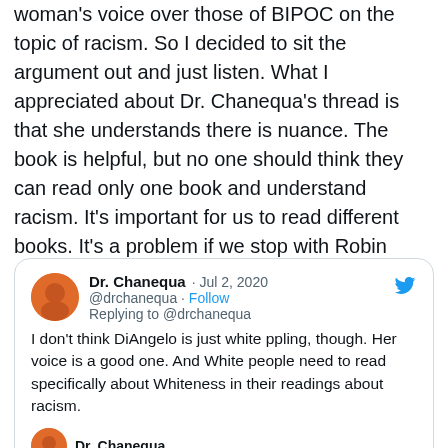woman's voice over those of BIPOC on the topic of racism. So I decided to sit the argument out and just listen. What I appreciated about Dr. Chanequa's thread is that she understands there is nuance. The book is helpful, but no one should think they can read only one book and understand racism. It's important for us to read different books. It's a problem if we stop with Robin DiAngelo or Dr. Ibram X. Kendi. To do so means we adopt one or two people as official spokespeople. Dr. Chanequa says it better:
[Figure (screenshot): Embedded tweet by Dr. Chanequa (@drchanequa) dated Jul 2, 2020, replying to @drchanequa: 'I don't think DiAngelo is just white ppling, though. Her voice is a good one. And White people need to read specifically about Whiteness in their readings about racism.' followed by a second tweet avatar from Dr. Chanequa.]